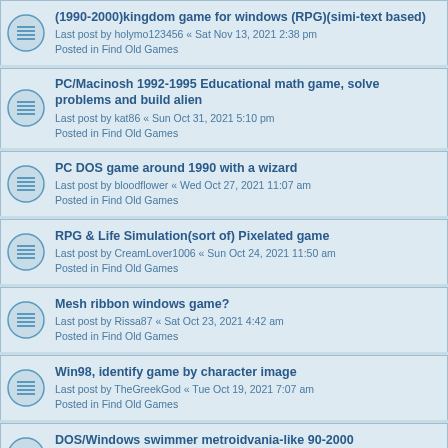(1990-2000)kingdom game for windows (RPG)(simi-text based)
Last post by holymo123456 « Sat Nov 13, 2021 2:38 pm
Posted in Find Old Games
PC/Macinosh 1992-1995 Educational math game, solve problems and build alien
Last post by kat86 « Sun Oct 31, 2021 5:10 pm
Posted in Find Old Games
PC DOS game around 1990 with a wizard
Last post by bloodflower « Wed Oct 27, 2021 11:07 am
Posted in Find Old Games
RPG & Life Simulation(sort of) Pixelated game
Last post by CreamLover1006 « Sun Oct 24, 2021 11:50 am
Posted in Find Old Games
Mesh ribbon windows game?
Last post by Rissa87 « Sat Oct 23, 2021 4:42 am
Posted in Find Old Games
Win98, identify game by character image
Last post by TheGreekGod « Tue Oct 19, 2021 7:07 am
Posted in Find Old Games
DOS/Windows swimmer metroidvania-like 90-2000
Last post by armorking596 « Mon Oct 18, 2021 7:47 am
Posted in Find Old Games
TIDYING ROOM GAME
Last post by grace__ « Sun Oct 10, 2021 4:28 am
Posted in Find Old Games